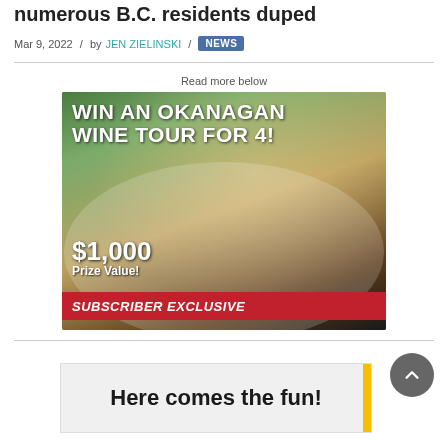numerous B.C. residents duped
Mar 9, 2022 / by JEN ZIELINSKI / NEWS
Read more below
[Figure (photo): Advertisement: WIN AN OKANAGAN WINE TOUR FOR 4! $1,000 Prize Value! SUBSCRIBER EXCLUSIVE — shows group of friends toasting with wine glasses outdoors in vineyard]
[Figure (photo): Advertisement banner: Here comes the fun!]